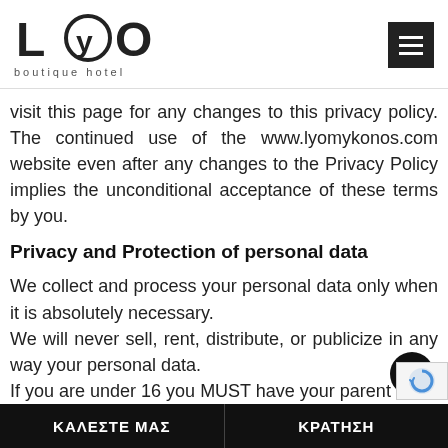[Figure (logo): LYO boutique hotel logo — bold stylized letters L, Y (inside a circle), O, with 'boutique hotel' subtitle below]
visit this page for any changes to this privacy policy. The continued use of the www.lyomykonos.com website even after any changes to the Privacy Policy implies the unconditional acceptance of these terms by you.
Privacy and Protection of personal data
We collect and process your personal data only when it is absolutely necessary.
We will never sell, rent, distribute, or publicize in any way your personal data.
If you are under 16 you MUST have your parent
ΚΑΛΕΣΤΕ ΜΑΣ   ΚΡΑΤΗΣΗ